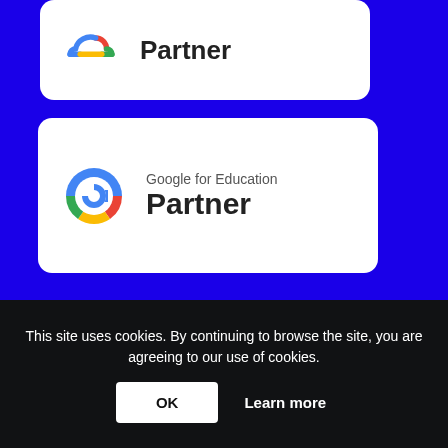[Figure (logo): Google Cloud Partner badge card (partially visible at top), showing Google Cloud logo and 'Partner' text]
[Figure (logo): Google for Education Partner badge card with Google 'G' logo, text reads 'Google for Education Partner']
[Figure (logo): Google Cloud Specialization Education circular badge with cloud logo, 'SPECIALIZATION' label, 'Education' title, and 'Google Cloud' text]
This site uses cookies. By continuing to browse the site, you are agreeing to our use of cookies.
OK    Learn more